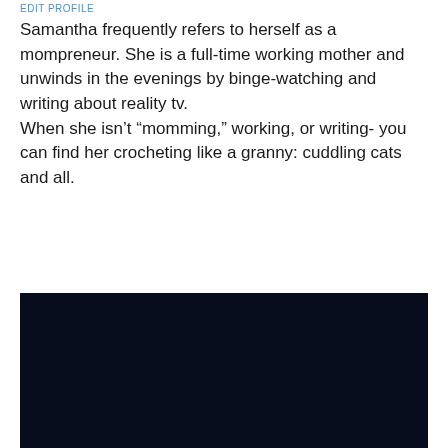EDIT PROFILE
Samantha frequently refers to herself as a mompreneur. She is a full-time working mother and unwinds in the evenings by binge-watching and writing about reality tv.
When she isn't “momming,” working, or writing- you can find her crocheting like a granny: cuddling cats and all.
[Figure (photo): A very dark navy/black rectangular image occupying the lower portion of the page.]